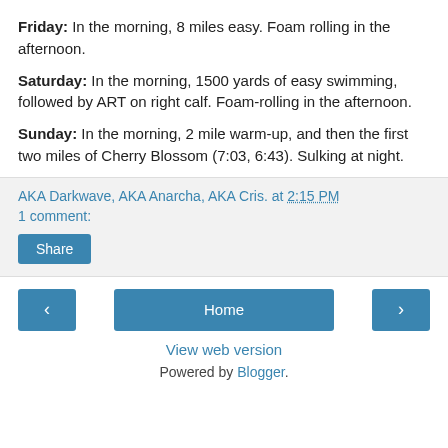Friday: In the morning, 8 miles easy. Foam rolling in the afternoon.
Saturday: In the morning, 1500 yards of easy swimming, followed by ART on right calf. Foam-rolling in the afternoon.
Sunday: In the morning, 2 mile warm-up, and then the first two miles of Cherry Blossom (7:03, 6:43). Sulking at night.
AKA Darkwave, AKA Anarcha, AKA Cris. at 2:15 PM
1 comment:
Share
View web version
Powered by Blogger.